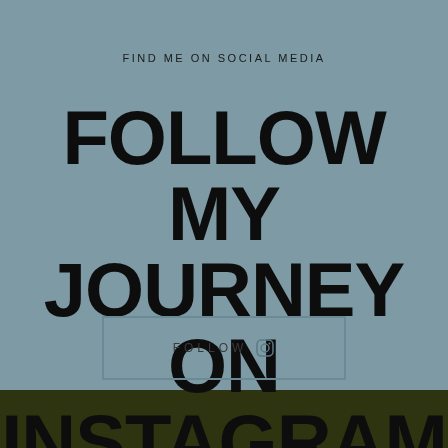FIND ME ON SOCIAL MEDIA
FOLLOW MY JOURNEY ON INSTAGRAM
FOLLOW ⊙